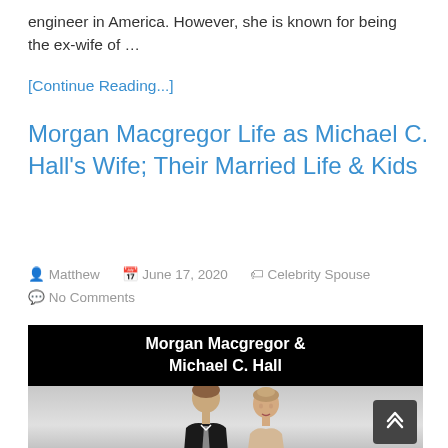engineer in America. However, she is known for being the ex-wife of …
[Continue Reading...]
Morgan Macgregor Life as Michael C. Hall's Wife; Their Married Life & Kids
Matthew   June 17, 2020   Celebrity Spouse   No Comments
[Figure (photo): Photo of Morgan Macgregor and Michael C. Hall with a black title bar reading 'Morgan Macgregor & Michael C. Hall']